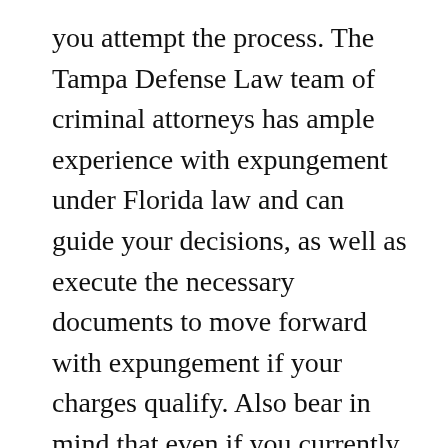you attempt the process. The Tampa Defense Law team of criminal attorneys has ample experience with expungement under Florida law and can guide your decisions, as well as execute the necessary documents to move forward with expungement if your charges qualify. Also bear in mind that even if you currently live in Florida, expungement eligibility will be based on the laws governing the state or jurisdiction in which the charge originated.
Typically—though again, each state varies—requirements for expungement will involve most or all of the following to qualify: a waiting period after the incident and no incidents